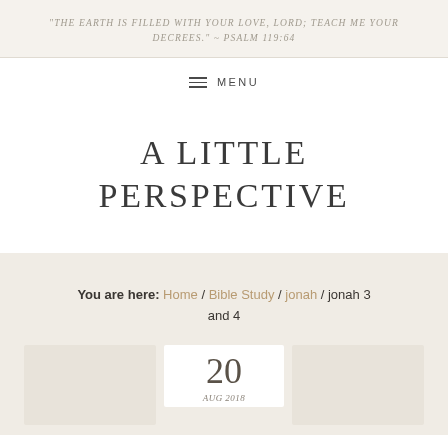"The earth is filled with your love, Lord; teach me your decrees." ~ Psalm 119:64
≡ MENU
A LITTLE PERSPECTIVE
You are here: Home / Bible Study / jonah / jonah 3 and 4
20
AUG 2018